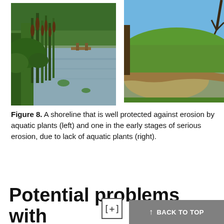[Figure (photo): Two side-by-side photographs. Left: a pond shoreline well protected by dense aquatic vegetation (cattails, grasses) with calm water and trees in the background and a small dock. Right: a pond shoreline showing early erosion with bare muddy edges, calm brown water, a large grassy lawn, blue sky, and a bare tree.]
Figure 8. A shoreline that is well protected against erosion by aquatic plants (left) and one in the early stages of serious erosion, due to lack of aquatic plants (right).
Potential problems with pond shoreline...